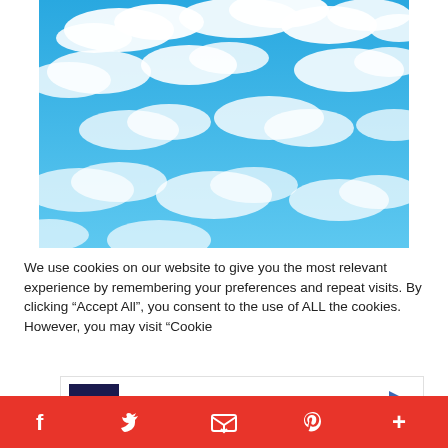[Figure (photo): Blue sky with white fluffy clouds, bright daylight photograph]
We use cookies on our website to give you the most relevant experience by remembering your preferences and repeat visits. By clicking “Accept All”, you consent to the use of ALL the cookies. However, you may visit “Cookie
[Figure (screenshot): Advertisement banner: Petco logo with text 'Your Pet's Summer Gear Is Here' and a navigation arrow]
[Figure (infographic): Red social sharing toolbar with Facebook, Twitter, Email, Pinterest, and More (+) icons]